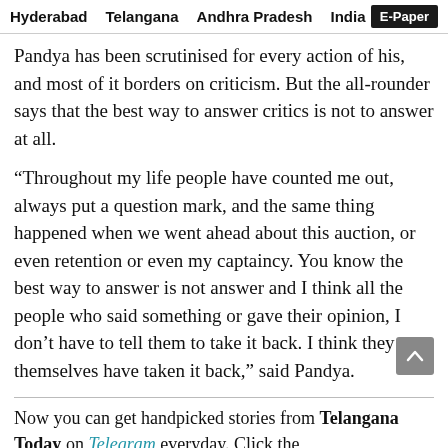Hyderabad  Telangana  Andhra Pradesh  India  E-Paper
Pandya has been scrutinised for every action of his, and most of it borders on criticism. But the all-rounder says that the best way to answer critics is not to answer at all.
“Throughout my life people have counted me out, always put a question mark, and the same thing happened when we went ahead about this auction, or even retention or even my captaincy. You know the best way to answer is not answer and I think all the people who said something or gave their opinion, I don’t have to tell them to take it back. I think they themselves have taken it back,” said Pandya.
Now you can get handpicked stories from Telangana Today on Telegram everyday. Click the